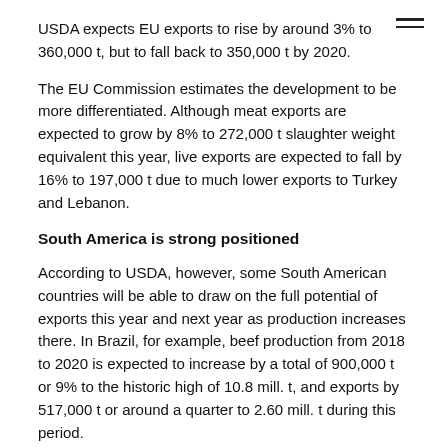USDA expects EU exports to rise by around 3% to 360,000 t, but to fall back to 350,000 t by 2020.
The EU Commission estimates the development to be more differentiated. Although meat exports are expected to grow by 8% to 272,000 t slaughter weight equivalent this year, live exports are expected to fall by 16% to 197,000 t due to much lower exports to Turkey and Lebanon.
South America is strong positioned
According to USDA, however, some South American countries will be able to draw on the full potential of exports this year and next year as production increases there. In Brazil, for example, beef production from 2018 to 2020 is expected to increase by a total of 900,000 t or 9% to the historic high of 10.8 mill. t, and exports by 517,000 t or around a quarter to 2.60 mill. t during this period.
Argentina will also be able to supply more beef to international customers with declining own consumption and growing production and, according to estimates by the analysts, will increase its exports by more than half between 2018 and 2020 to 775,000 t. The USDA also expects